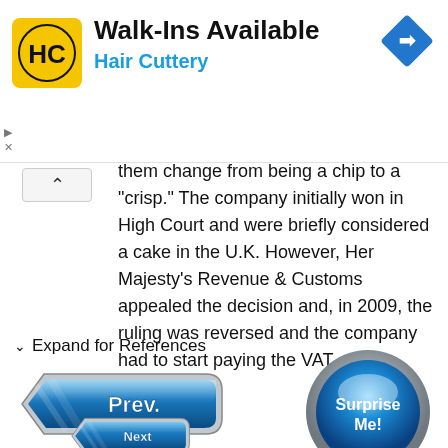[Figure (screenshot): Hair Cuttery advertisement banner with logo, 'Walk-Ins Available' headline and blue navigation arrow icon]
them change from being a chip to a 'crisp.' The company initially won in High Court and were briefly considered a cake in the U.K. However, Her Majesty's Revenue & Customs appealed the decision and, in 2009, the ruling was reversed and the company had to start paying the VAT.
✓ Expand for References
[Figure (screenshot): Blue 'Prev.' navigation button with chevron arrow design]
[Figure (screenshot): Blue circular 'Surprise Me!' button]
[Figure (screenshot): Blue 'Next' navigation button partially visible at bottom]